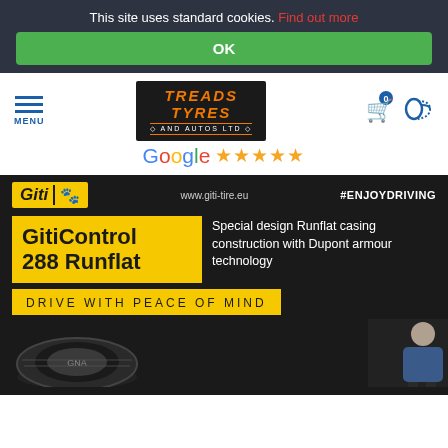This site uses standard cookies. Find out more
OK
[Figure (logo): Treads Tyres and Autos Ltd logo in orange on dark background]
MENU
[Figure (logo): Google five-star rating - Google logo with 5 gold stars]
[Figure (screenshot): Giti tire advertisement banner: GitiControl 288 Runflat - Special design Runflat casing construction with Dupont armour technology - DRIVE WITH PEACE OF MIND - www.giti-tire.eu #ENJOYDRIVING]